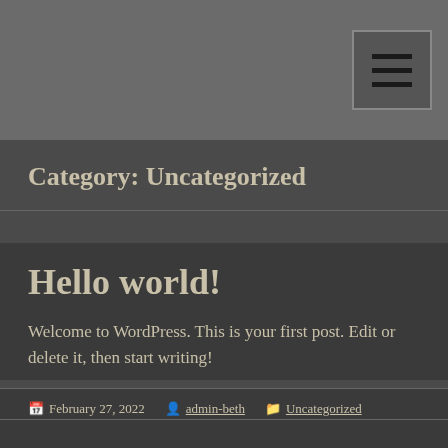Menu button (hamburger icon)
Category: Uncategorized
Hello world!
Welcome to WordPress. This is your first post. Edit or delete it, then start writing!
February 27, 2022  admin-beth  Uncategorized  Leave a comment